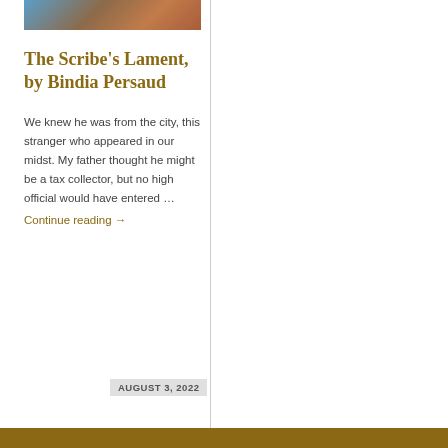[Figure (illustration): Illustrated image showing a figure, partially visible at the top of the article card — appears to be an artistic digital illustration with brown and teal tones.]
The Scribe's Lament, by Bindia Persaud
We knew he was from the city, this stranger who appeared in our midst. My father thought he might be a tax collector, but no high official would have entered …
Continue reading →
AUGUST 3, 2022